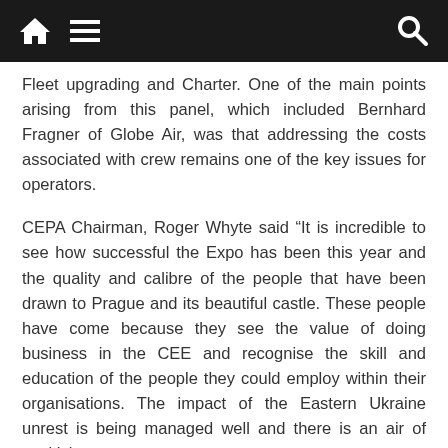[navigation bar with home, menu, and search icons]
Fleet upgrading and Charter. One of the main points arising from this panel, which included Bernhard Fragner of Globe Air, was that addressing the costs associated with crew remains one of the key issues for operators.
CEPA Chairman, Roger Whyte said “It is incredible to see how successful the Expo has been this year and the quality and calibre of the people that have been drawn to Prague and its beautiful castle. These people have come because they see the value of doing business in the CEE and recognise the skill and education of the people they could employ within their organisations. The impact of the Eastern Ukraine unrest is being managed well and there is an air of positivity